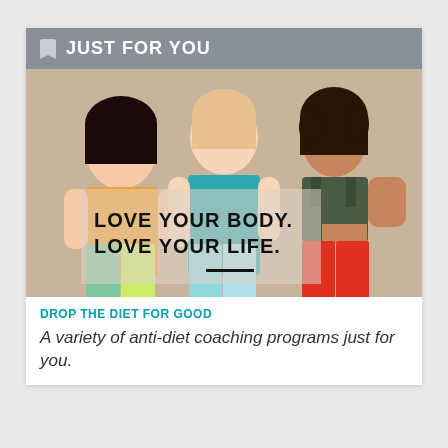JUST FOR YOU
[Figure (photo): Three plus-size women in colorful athletic wear smiling and laughing together, with overlaid bold text reading LOVE YOUR BODY. LOVE YOUR LIFE.]
DROP THE DIET FOR GOOD
A variety of anti-diet coaching programs just for you.